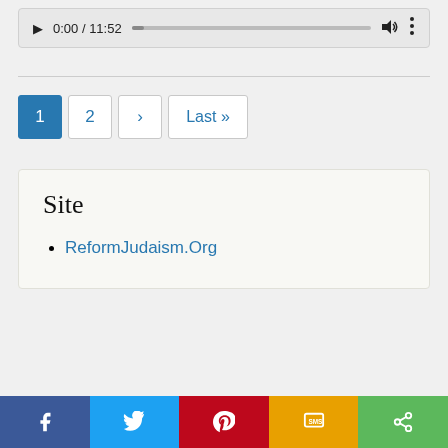[Figure (screenshot): Audio media player bar showing play button, time 0:00 / 11:52, progress bar, volume icon, and more options icon]
1  2  ›  Last »
Site
ReformJudaism.Org
[Figure (screenshot): Social share bar with Facebook, Twitter, Pinterest, SMS, and Share buttons]